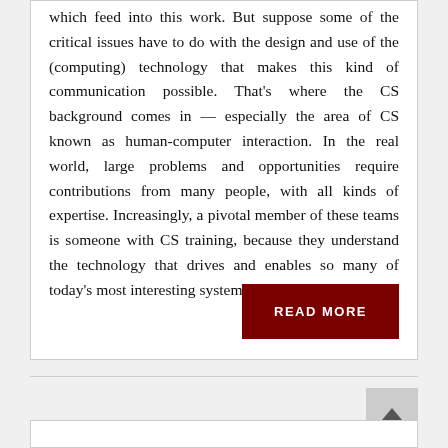which feed into this work. But suppose some of the critical issues have to do with the design and use of the (computing) technology that makes this kind of communication possible. That's where the CS background comes in — especially the area of CS known as human-computer interaction. In the real world, large problems and opportunities require contributions from many people, with all kinds of expertise. Increasingly, a pivotal member of these teams is someone with CS training, because they understand the technology that drives and enables so many of today's most interesting systems and societal trends.
READ MORE